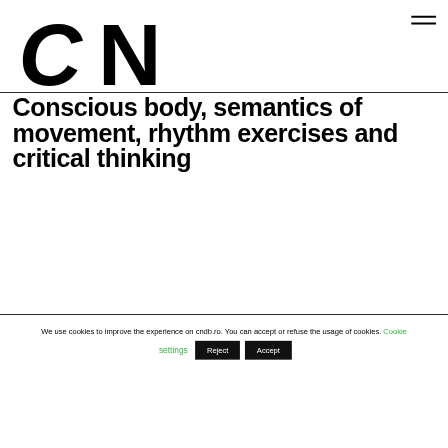[Figure (logo): CN logo in bold black stylized lettering]
Conscious body, semantics of movement, rhythm exercises and critical thinking
We use cookies to improve the experience on cndb.ro. You can accept or refuse the usage of cookies. Cookie settings Reject Accept